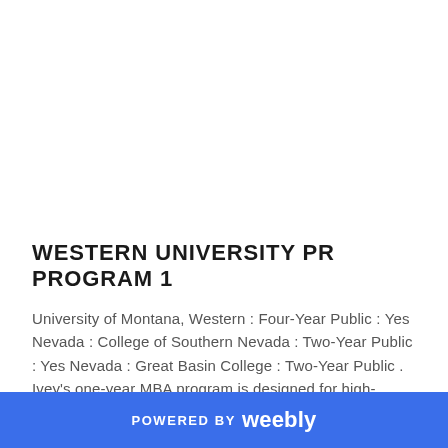WESTERN UNIVERSITY PR PROGRAM 1
University of Montana, Western : Four-Year Public : Yes Nevada : College of Southern Nevada : Two-Year Public : Yes Nevada : Great Basin College : Two-Year Public . Ivey's one-year MBA program is designed for high-achieving leaders who are ready to accelerate their career success. Are you ready for your future? WCU's new Summer Undergraduate Research Program could benefit medical. Western Carolina University
POWERED BY weebly